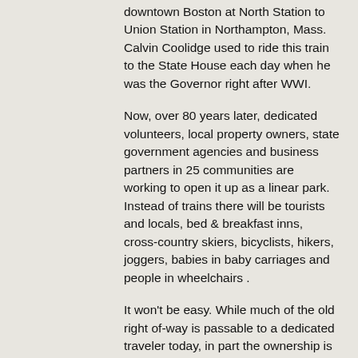downtown Boston at North Station to Union Station in Northampton, Mass. Calvin Coolidge used to ride this train to the State House each day when he was the Governor right after WWI.
Now, over 80 years later, dedicated volunteers, local property owners, state government agencies and business partners in 25 communities are working to open it up as a linear park. Instead of trains there will be tourists and locals, bed & breakfast inns, cross-country skiers, bicyclists, hikers, joggers, babies in baby carriages and people in wheelchairs .
It won't be easy. While much of the old right of-way is passable to a dedicated traveler today, in part the ownership is not clear. The railway has faded so far from memory that many maps don't even show the former route. A number of the bridges were torn